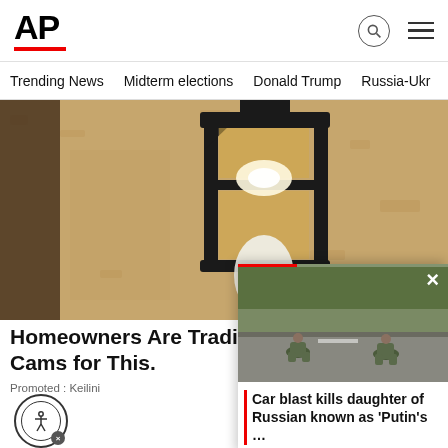AP
Trending News   Midterm elections   Donald Trump   Russia-Ukr
[Figure (photo): Close-up of a black metal outdoor wall lantern mounted on a beige textured stucco wall, with a white light bulb visible inside]
Homeowners Are Trading in Cams for This.
Promoted : Keilini
[Figure (photo): Overlay video card showing soldiers crouching on a road, with headline: Car blast kills daughter of Russian known as ‘Putin’s …’]